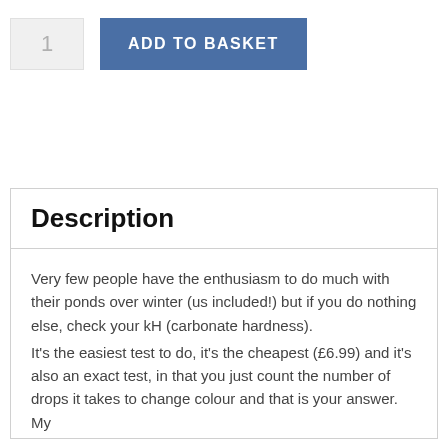1
ADD TO BASKET
Description
Very few people have the enthusiasm to do much with their ponds over winter (us included!) but if you do nothing else, check your kH (carbonate hardness).
It's the easiest test to do, it's the cheapest (£6.99) and it's also an exact test, in that you just count the number of drops it takes to change colour and that is your answer. My